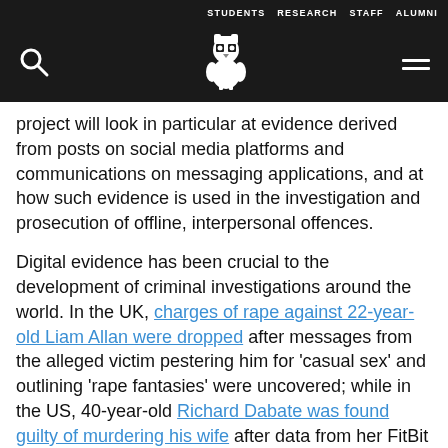STUDENTS   RESEARCH   STAFF   ALUMNI
project will look in particular at evidence derived from posts on social media platforms and communications on messaging applications, and at how such evidence is used in the investigation and prosecution of offline, interpersonal offences.
Digital evidence has been crucial to the development of criminal investigations around the world. In the UK, charges of rape against 22-year-old Liam Allan were dropped after messages from the alleged victim pestering him for 'casual sex' and outlining 'rape fantasies' were uncovered; while in the US, 40-year-old Richard Dabate was found guilty of murdering his wife after data from her FitBit activity tracker showed her heart rate had stopped earlier than in the timeline of events Dabate had given to the police.